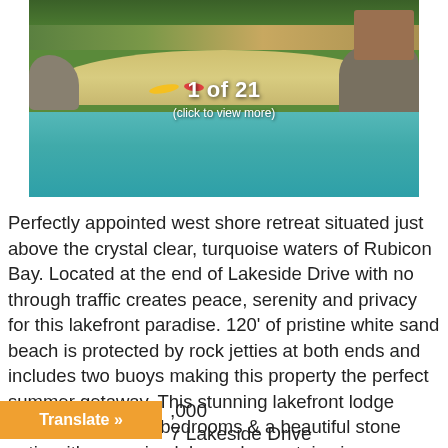[Figure (photo): Aerial view of a lakefront property with a sandy beach cove, turquoise water, and rock jetties. A kayak is visible on the sand. Text overlay reads '1 of 21 (click to view more)'.]
Perfectly appointed west shore retreat situated just above the crystal clear, turquoise waters of Rubicon Bay. Located at the end of Lakeside Drive with no through traffic creates peace, serenity and privacy for this lakefront paradise. 120' of pristine white sand beach is protected by rock jetties at both ends and includes two buoys making this property the perfect summer getaway. This stunning lakefront lodge features 4 ensuite bedrooms & a beautiful stone patio with sweeping lake and mountain views.
Price: $$$,000 (partially obscured)
7 Lakeside Drive
Translate »